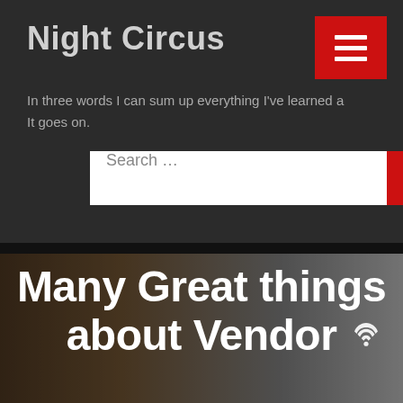Night Circus
In three words I can sum up everything I've learned about life: It goes on.
[Figure (screenshot): Search bar with text input field and red Search button]
[Figure (photo): Hero image with dark leather jacket background and overlaid large white bold text reading 'Many Great things about Vendor' with a WiFi/location icon overlay]